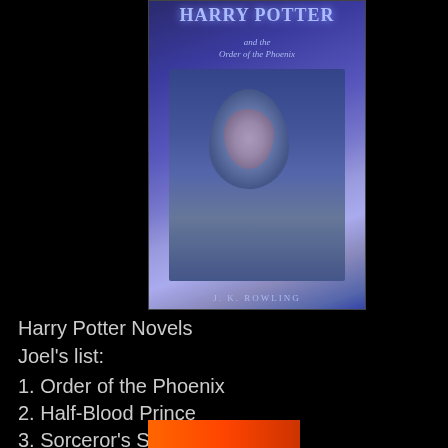[Figure (photo): Book cover of Harry Potter and the Order of the Phoenix by J. K. Rowling, featuring a blue-toned illustration of Harry Potter with glasses looking downward, with architectural elements in the background.]
Harry Potter Novels
Joel's list:
1. Order of the Phoenix
2. Half-Blood Prince
3. Sorceror's Stone
4. Prisoner of Azkaban
5. Deathly Hallows
6. Chamber of Secrets
7. Goblet of Fire
[Figure (photo): Partial view of another book cover at the bottom of the page, showing orange/red tones with what appears to be a bird or phoenix motif.]